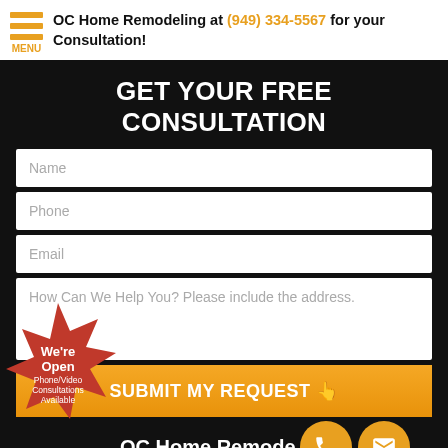OC Home Remodeling at (949) 334-5567 for your Consultation!
GET YOUR FREE CONSULTATION
Name
Phone
Email
How Can We Help You? Please include the address.
SUBMIT MY REQUEST
We're Open Phone/Video Consultations Available
OC Home Remode...